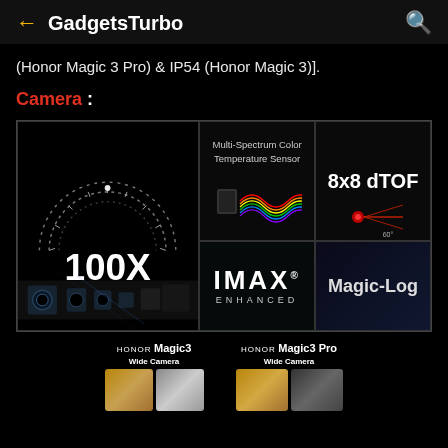GadgetsTurbo
(Honor Magic 3 Pro) & IP54 (Honor Magic 3)].
Camera :
[Figure (photo): Camera feature grid showing: 100X zoom with speedometer arc graphic and camera module; Multi-Spectrum Color Temperature Sensor with rainbow wave graphic; 8x8 dTOF with red laser beam at 60 degrees; IMAX ENHANCED logo; Magic-Log text on dark blue background]
[Figure (photo): Bottom comparison section showing HONOR Magic3 and HONOR Magic3 Pro side by side with phone mockups in gold/silver colors and Wide Camera label]